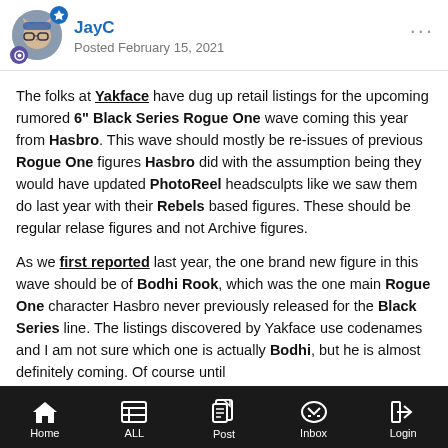JayC — Posted February 15, 2021
The folks at Yakface have dug up retail listings for the upcoming rumored 6" Black Series Rogue One wave coming this year from Hasbro. This wave should mostly be re-issues of previous Rogue One figures Hasbro did with the assumption being they would have updated PhotoReel headsculpts like we saw them do last year with their Rebels based figures. These should be regular relase figures and not Archive figures.
As we first reported last year, the one brand new figure in this wave should be of Bodhi Rook, which was the one main Rogue One character Hasbro never previously released for the Black Series line. The listings discovered by Yakface use codenames and I am not sure which one is actually Bodhi, but he is almost definitely coming. Of course until
Home  ALL  Post  Inbox  Login